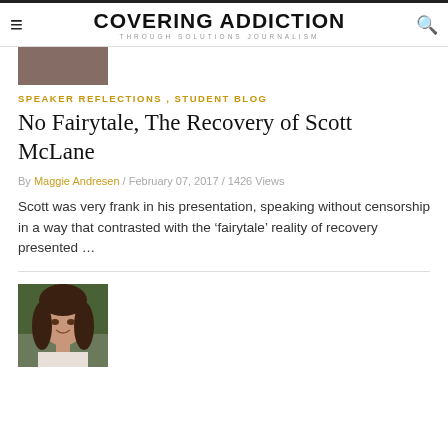COVERING ADDICTION
THROUGH SOLUTIONS JOURNALISM
[Figure (photo): Partial cropped photo at top of article, person's shoulder/jacket visible]
SPEAKER REFLECTIONS , STUDENT BLOG
No Fairytale, The Recovery of Scott McLane
By Maggie Andresen / February 07, 2017 / 1426 Views
Scott was very frank in his presentation, speaking without censorship in a way that contrasted with the 'fairytale' reality of recovery presented …
[Figure (photo): Portrait photo of a young woman with long curly dark hair, smiling, wearing a light-colored top]